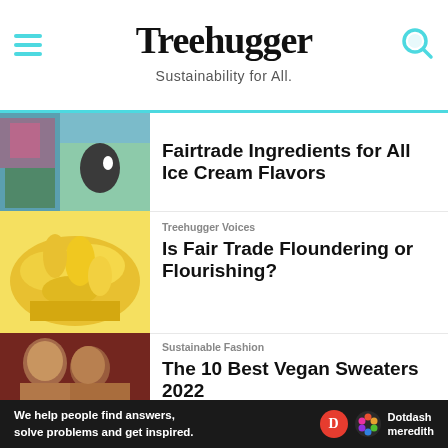Treehugger — Sustainability for All.
[Figure (photo): Cow and colorful mural photo thumbnail for Fairtrade ice cream article]
Fairtrade Ingredients for All Ice Cream Flavors
[Figure (photo): Yellow bananas pile thumbnail for Fair Trade article]
Treehugger Voices
Is Fair Trade Floundering or Flourishing?
[Figure (photo): Two people smiling wearing sweaters thumbnail for vegan sweaters article]
Sustainable Fashion
The 10 Best Vegan Sweaters 2022
Business & Policy
Ad
We help people find answers, solve problems and get inspired. Dotdash meredith